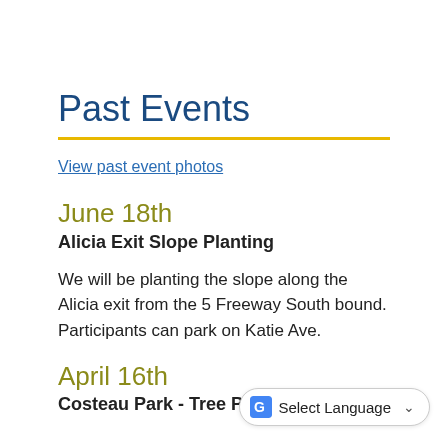Past Events
View past event photos
June 18th
Alicia Exit Slope Planting
We will be planting the slope along the Alicia exit from the 5 Freeway South bound. Participants can park on Katie Ave.
April 16th
Costeau Park - Tree Planting